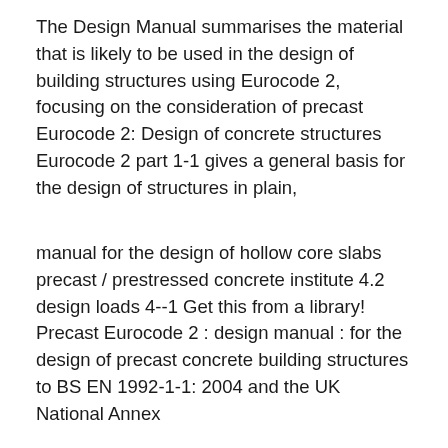The Design Manual summarises the material that is likely to be used in the design of building structures using Eurocode 2, focusing on the consideration of precast Eurocode 2: Design of concrete structures Eurocode 2 part 1-1 gives a general basis for the design of structures in plain,
manual for the design of hollow core slabs precast / prestressed concrete institute 4.2 design loads 4--1 Get this from a library! Precast Eurocode 2 : design manual : for the design of precast concrete building structures to BS EN 1992-1-1: 2004 and the UK National Annex